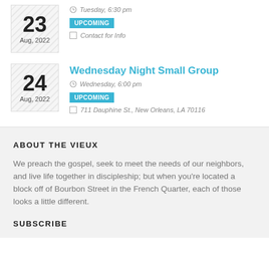23 Aug, 2022
Tuesday, 6:30 pm
UPCOMING
Contact for Info
Wednesday Night Small Group
Wednesday, 6:00 pm
UPCOMING
711 Dauphine St., New Orleans, LA 70116
ABOUT THE VIEUX
We preach the gospel, seek to meet the needs of our neighbors, and live life together in discipleship; but when you're located a block off of Bourbon Street in the French Quarter, each of those looks a little different.
SUBSCRIBE